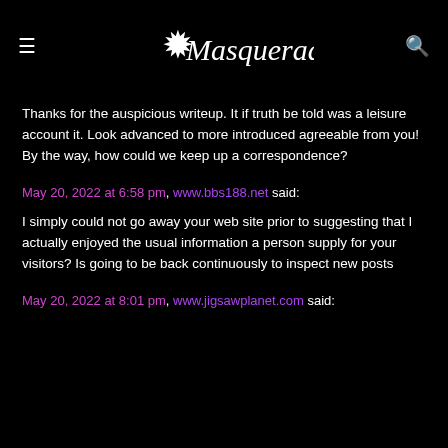Masquerade
Thanks for the auspicious writeup. It if truth be told was a leisure account it. Look advanced to more introduced agreeable from you! By the way, how could we keep up a correspondence?
May 20, 2022 at 6:58 pm, www.bbs188.net said:
I simply could not go away your web site prior to suggesting that I actually enjoyed the usual information a person supply for your visitors? Is going to be back continuously to inspect new posts
May 20, 2022 at 8:01 pm, www.jigsawplanet.com said: